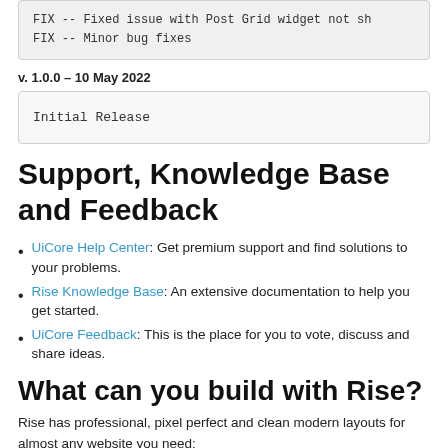FIX -- Fixed issue with Post Grid widget not sh
FIX -- Minor bug fixes
v. 1.0.0 – 10 May 2022
Initial Release
Support, Knowledge Base and Feedback
UiCore Help Center: Get premium support and find solutions to your problems.
Rise Knowledge Base: An extensive documentation to help you get started.
UiCore Feedback: This is the place for you to vote, discuss and share ideas.
What can you build with Rise?
Rise has professional, pixel perfect and clean modern layouts for almost any website you need: